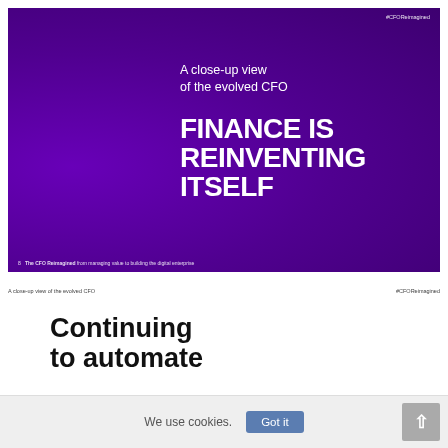#CFOReimagined
A close-up view of the evolved CFO
FINANCE IS REINVENTING ITSELF
8   The CFO Reimagined from managing value to building the digital enterprise
A close-up view of the evolved CFO   #CFOReimagined
Continuing to automate